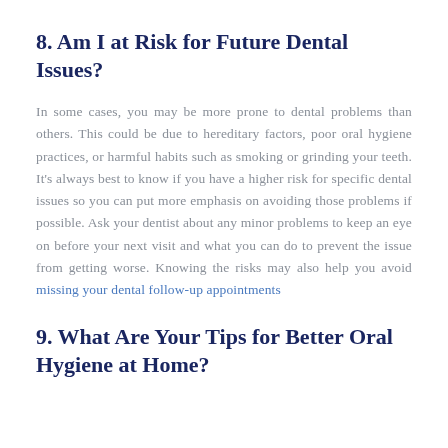8. Am I at Risk for Future Dental Issues?
In some cases, you may be more prone to dental problems than others. This could be due to hereditary factors, poor oral hygiene practices, or harmful habits such as smoking or grinding your teeth. It’s always best to know if you have a higher risk for specific dental issues so you can put more emphasis on avoiding those problems if possible. Ask your dentist about any minor problems to keep an eye on before your next visit and what you can do to prevent the issue from getting worse. Knowing the risks may also help you avoid missing your dental follow-up appointments
9. What Are Your Tips for Better Oral Hygiene at Home?